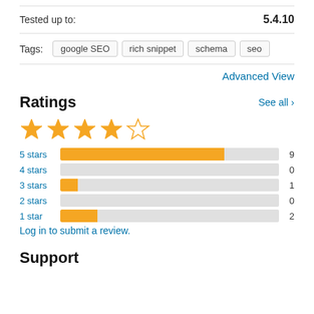Tested up to: 5.4.10
Tags: google SEO  rich snippet  schema  seo
Advanced View
Ratings
[Figure (bar-chart): Ratings breakdown]
Log in to submit a review.
Support